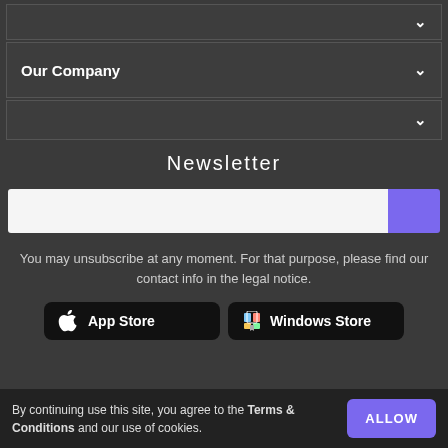Our Company
Newsletter
You may unsubscribe at any moment. For that purpose, please find our contact info in the legal notice.
[Figure (screenshot): App Store and Windows Store download buttons]
By continuing use this site, you agree to the Terms & Conditions and our use of cookies.